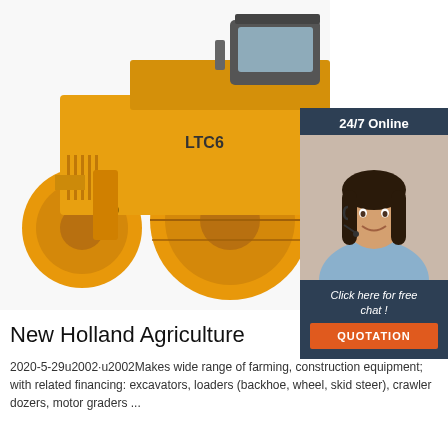[Figure (photo): Yellow road roller / compactor machine labeled LTC6 on white background]
[Figure (photo): 24/7 Online chat widget with female customer service agent wearing headset, dark blue background with 'Click here for free chat!' text and orange QUOTATION button]
New Holland Agriculture
2020-5-29u2002·u2002Makes wide range of farming, construction equipment; with related financing: excavators, loaders (backhoe, wheel, skid steer), crawler dozers, motor graders ...